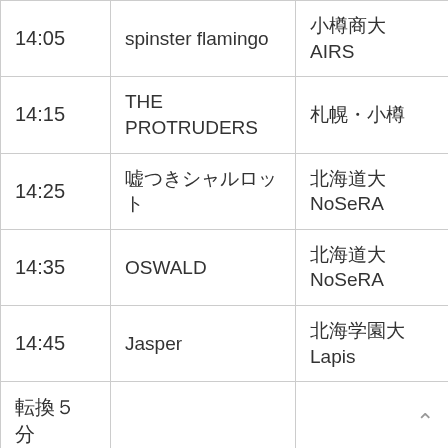| 時間 | アーティスト | 会場 |
| --- | --- | --- |
| 14:05 | spinster flamingo | 小樽商大 AIRS |
| 14:15 | THE PROTRUDERS | 札幌・小樽 |
| 14:25 | 嘘つきシャルロット | 北海道大 NoSeRA |
| 14:35 | OSWALD | 北海道大 NoSeRA |
| 14:45 | Jasper | 北海学園大 Lapis |
| 転換５分 |  |  |
|  |  | 北海学園大 |